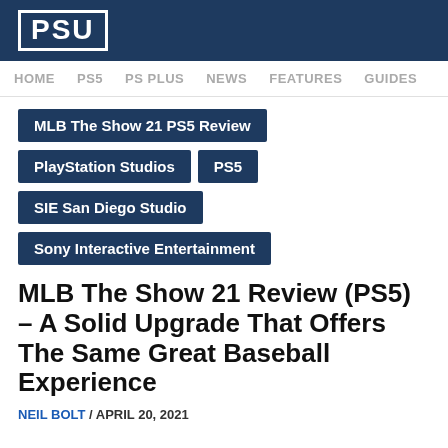PSU
HOME  PS5  PS PLUS  NEWS  FEATURES  GUIDES
MLB The Show 21 PS5 Review
PlayStation Studios
PS5
SIE San Diego Studio
Sony Interactive Entertainment
MLB The Show 21 Review (PS5) – A Solid Upgrade That Offers The Same Great Baseball Experience
NEIL BOLT / APRIL 20, 2021